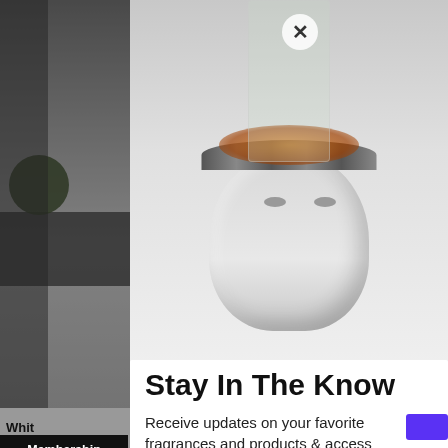[Figure (photo): Background e-commerce product page showing a silver Buddha head candle holder/vase with decorative beaded crown, photographed on a white surface with green topiary balls in background. Modal popup overlay visible on top.]
Stay In The Know
Receive updates on your favorite fragrances and products & access exclusive sales!
White
★★★
$87
Pay i
Membership